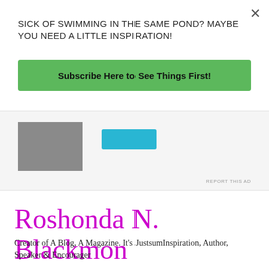×
SICK OF SWIMMING IN THE SAME POND? MAYBE YOU NEED A LITTLE INSPIRATION!
Subscribe Here to See Things First!
[Figure (other): Advertisement area with a dark photo on the left and a cyan button on the right, with 'REPORT THIS AD' text]
Roshonda N. Blackmon
Creator of A Blog, A Magazine. It's JustsumInspiration, Author, Speaker & Encourager